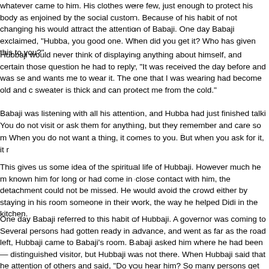whatever came to him. His clothes were few, just enough to protect his body as enjoined by the social custom. Because of his habit of not changing his would attract the attention of Babaji. One day Babaji exclaimed, "Hubba, yo good one. When did you get it? Who has given this to you?"
Hubbaji would never think of displaying anything about himself, and certain those question he had to reply, "It was received the day before and was se and wants me to wear it. The one that I was wearing had become old and sweater is thick and can protect me from the cold."
Babaji was listening with all his attention, and Hubba had just finished talki You do not visit or ask them for anything, but they remember and care so m When you do not want a thing, it comes to you. But when you ask for it, it r
This gives us some idea of the spiritual life of Hubbaji. However much he m known him for long or had come in close contact with him, the detachment could not be missed. He would avoid the crowd either by staying in his roo someone in their work, the way he helped Didi in the kitchen.
One day Babaji referred to this habit of Hubbaji. A governor was coming to Several persons had gotten ready in advance, and went as far as the road left, Hubbaji came to Babaji's room. Babaji asked him where he had been— distinguished visitor, but Hubbaji was not there. When Hubbaji said that he attention of others and said, "Do you hear him? So many persons get busy stays behind."